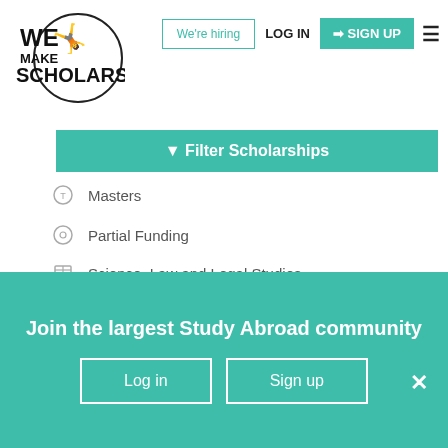[Figure (logo): We Make Scholars logo with circle and figure silhouette]
We're hiring | LOG IN | SIGN UP | hamburger menu
Filter Scholarships
Masters
Partial Funding
Science, Law and Legal Studies
Open to Australian citizens and permanent residents
Any Australian or overseas tertiary Institutions
Shortlist | View & Apply
Join the largest Study Abroad community
Log in | Sign up